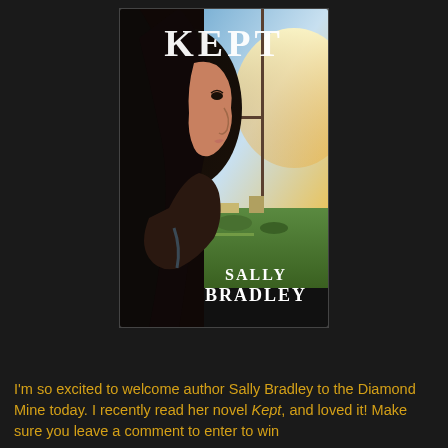[Figure (illustration): Book cover for 'Kept' by Sally Bradley. Shows a woman in profile looking out a window at a sunlit cityscape/park. Title 'KEPT' in large white serif letters at top, author name 'SALLY BRADLEY' in white at bottom.]
I'm so excited to welcome author Sally Bradley to the Diamond Mine today. I recently read her novel Kept, and loved it! Make sure you leave a comment to enter to win